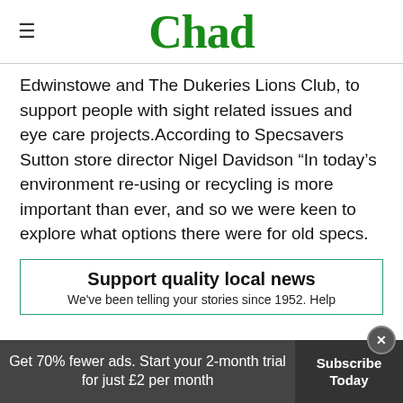Chad
Edwinstowe and The Dukeries Lions Club, to support people with sight related issues and eye care projects.According to Specsavers Sutton store director Nigel Davidson “In today’s environment re-using or recycling is more important than ever, and so we were keen to explore what options there were for old specs.
Support quality local news
We've been telling your stories since 1952. Help
Get 70% fewer ads. Start your 2-month trial for just £2 per month
Subscribe Today